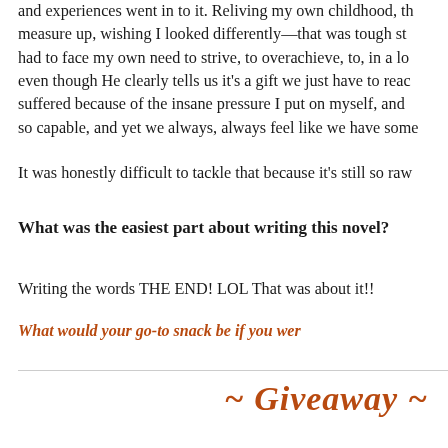and experiences went in to it. Reliving my own childhood, the measure up, wishing I looked differently—that was tough stu had to face my own need to strive, to overachieve, to, in a lot even though He clearly tells us it's a gift we just have to reach suffered because of the insane pressure I put on myself, and I so capable, and yet we always, always feel like we have somet
It was honestly difficult to tackle that because it's still so raw
What was the easiest part about writing this novel?
Writing the words THE END! LOL That was about it!!
What would your go-to snack be if you wer
~ Giveaway ~